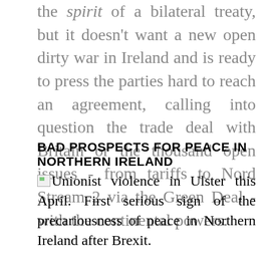the spirit of a bilateral treaty, but it doesn't want a new open dirty war in Ireland and is ready to press the parties hard to reach an agreement, calling into question the trade deal with Britain or the thousand open issues - from tariffs to Nord Stream 2 via the Green Deal - with the continental powers.
BAD PROSPECTS FOR PEACE IN NORTHERN IRELAND
Unionist violence in Ulster this April. First serious sign of the precariousness of peace in Northern Ireland after Brexit.